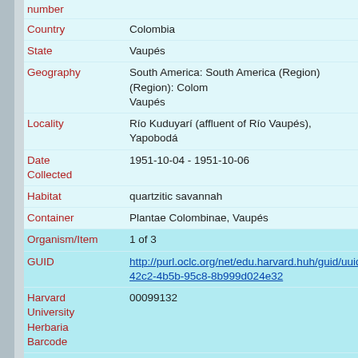number
| Field | Value |
| --- | --- |
| Country | Colombia |
| State | Vaupés |
| Geography | South America: South America (Region) (Region): Colombia, Vaupés |
| Locality | Río Kuduyarí (affluent of Río Vaupés), Yapobodá |
| Date Collected | 1951-10-04 - 1951-10-06 |
| Habitat | quartzitic savannah |
| Container | Plantae Colombinae, Vaupés |
| Organism/Item | 1 of 3 |
| GUID | http://purl.oclc.org/net/edu.harvard.huh/guid/uuid/5f6...42c2-4b5b-95c8-8b999d024e32 |
| Harvard University Herbaria Barcode | 00099132 |
| Herbarium | AMES |
| Family | Orchidaceae |
| Determination | Epistephium brevicristatum R. E. Schultes |
| Determined by | Schultes, Richard Evans |
| Date | 1954 |